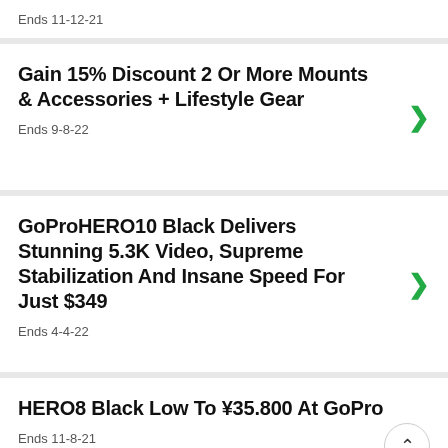Ends 11-12-21
Gain 15% Discount 2 Or More Mounts & Accessories + Lifestyle Gear
Ends 9-8-22
GoProHERO10 Black Delivers Stunning 5.3K Video, Supreme Stabilization And Insane Speed For Just $349
Ends 4-4-22
HERO8 Black Low To ¥35.800 At GoPro
Ends 11-8-21